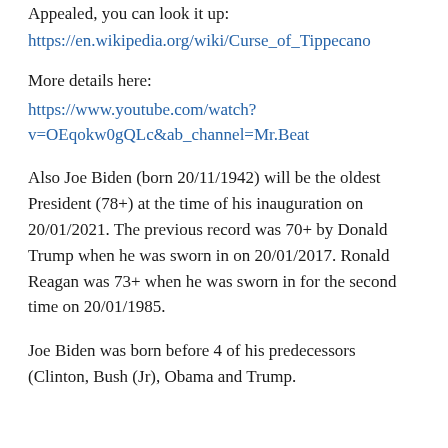Appealed, you can look it up:
https://en.wikipedia.org/wiki/Curse_of_Tippecanoe
More details here:
https://www.youtube.com/watch?v=OEqokw0gQLc&ab_channel=Mr.Beat
Also Joe Biden (born 20/11/1942) will be the oldest President (78+) at the time of his inauguration on 20/01/2021. The previous record was 70+ by Donald Trump when he was sworn in on 20/01/2017. Ronald Reagan was 73+ when he was sworn in for the second time on 20/01/1985.
Joe Biden was born before 4 of his predecessors (Clinton, Bush (Jr), Obama and Trump.